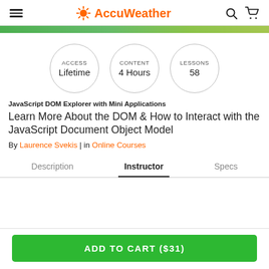AccuWeather
[Figure (infographic): Three circular badges showing course details: ACCESS Lifetime, CONTENT 4 Hours, LESSONS 58]
JavaScript DOM Explorer with Mini Applications
Learn More About the DOM & How to Interact with the JavaScript Document Object Model
By Laurence Svekis | in Online Courses
Description   Instructor   Specs
ADD TO CART ($31)